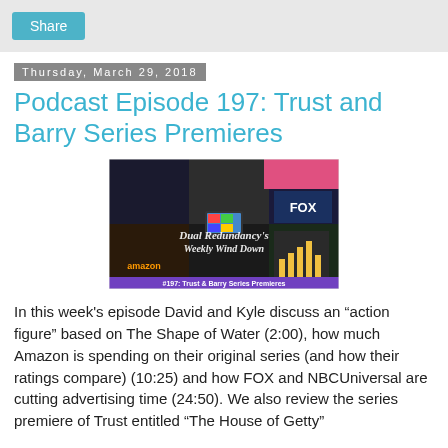Share
Thursday, March 29, 2018
Podcast Episode 197: Trust and Barry Series Premieres
[Figure (photo): Podcast episode 197 cover image showing collage of TV show scenes with text 'Dual Redundancy's Weekly Wind Down' and '#197: Trust & Barry Series Premieres']
In this week's episode David and Kyle discuss an “action figure” based on The Shape of Water (2:00), how much Amazon is spending on their original series (and how their ratings compare) (10:25) and how FOX and NBCUniversal are cutting advertising time (24:50). We also review the series premiere of Trust entitled “The House of Getty”